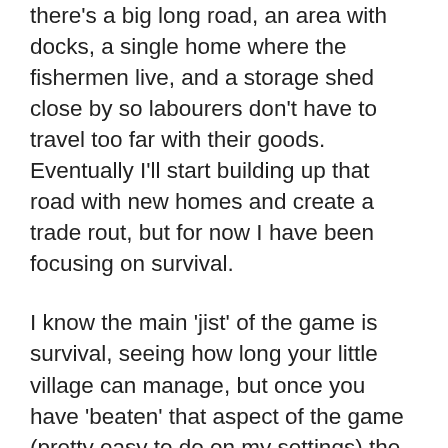there's a big long road, an area with docks, a single home where the fishermen live, and a storage shed close by so labourers don't have to travel too far with their goods. Eventually I'll start building up that road with new homes and create a trade rout, but for now I have been focusing on survival.
I know the main 'jist' of the game is survival, seeing how long your little village can manage, but once you have 'beaten' that aspect of the game (pretty easy to do on my settings) the 'game' at least for me, becomes expanding and watching your little town thrive much like a sims game. That's the point I'm at now, though the town is still quite tiny. I think I have 35 total adults, a handful of students and some children. The older generation has been dying off (the NPC you start with) and thankfully I had more than enough